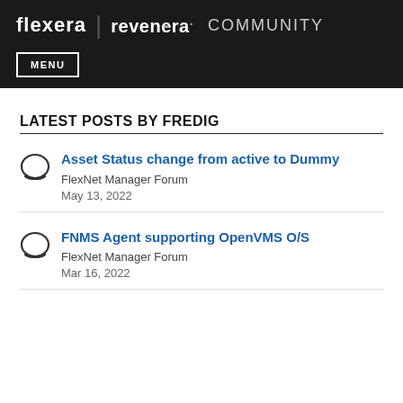Flexera | revenera. COMMUNITY — MENU
LATEST POSTS BY FREDIG
Asset Status change from active to Dummy — FlexNet Manager Forum — May 13, 2022
FNMS Agent supporting OpenVMS O/S — FlexNet Manager Forum — Mar 16, 2022